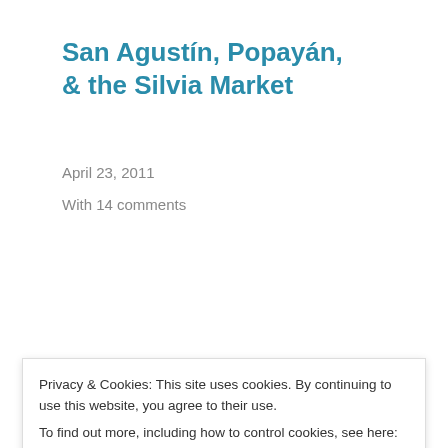San Agustín, Popayán, & the Silvia Market
April 23, 2011
With 14 comments
Published by Jordan
View all posts by Jordan
[Figure (photo): Black and white circular avatar photo of Jordan]
Privacy & Cookies: This site uses cookies. By continuing to use this website, you agree to their use. To find out more, including how to control cookies, see here: Cookie Policy
Close and accept
Story of a Shipwreck ›